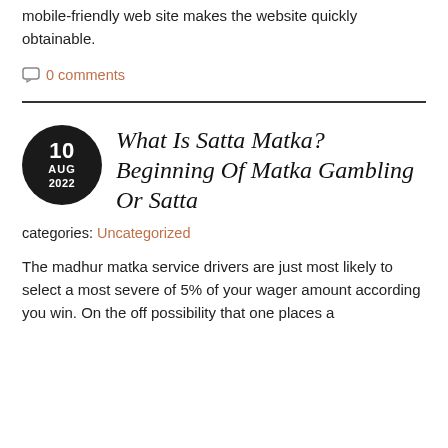mobile-friendly web site makes the website quickly obtainable.
0 comments
What Is Satta Matka? Beginning Of Matka Gambling Or Satta
categories: Uncategorized
The madhur matka service drivers are just most likely to select a most severe of 5% of your wager amount according you win. On the off possibility that one places a